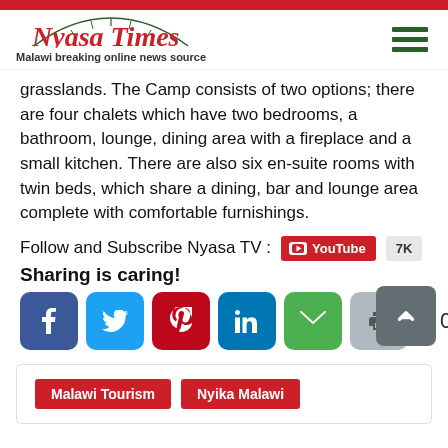Nyasa Times — Malawi breaking online news source
grasslands. The Camp consists of two options; there are four chalets which have two bedrooms, a bathroom, lounge, dining area with a fireplace and a small kitchen. There are also six en-suite rooms with twin beds, which share a dining, bar and lounge area complete with comfortable furnishings.
Follow and Subscribe Nyasa TV : YouTube 7K
Sharing is caring!
[Figure (infographic): Social share buttons: Facebook, Twitter, Pinterest, LinkedIn, Email, Print. Share count: 0 SHARES. Scroll-to-top button.]
Malawi Tourism
Nyika Malawi